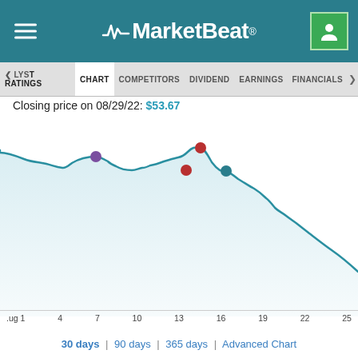MarketBeat
ANALYST RATINGS | CHART | COMPETITORS | DIVIDEND | EARNINGS | FINANCIALS
Closing price on 08/29/22: $53.67
[Figure (line-chart): Line chart showing stock price declining from ~$62 on Aug 1 to ~$53.67 on Aug 29, with colored dots indicating analyst rating events]
30 days | 90 days | 365 days | Advanced Chart